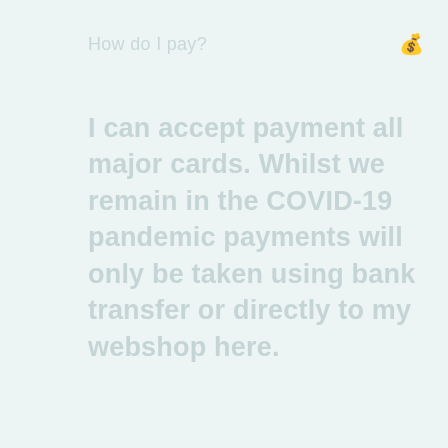How do I pay?
I can accept payment all major cards. Whilst we remain in the COVID-19 pandemic payments will only be taken using bank transfer or directly to my webshop here.